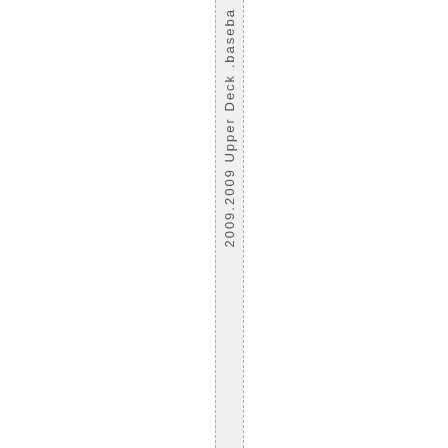2009.2009 Upper Deck .baseball